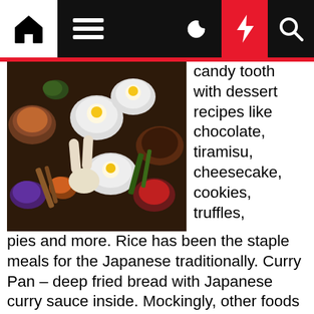[Figure (other): Navigation bar with home icon, hamburger menu, moon icon, red lightning bolt, and search icon on black background]
[Figure (photo): Overhead food photography showing bowls with fried eggs, spices, herbs, sauces and various Asian ingredients on dark surface]
candy tooth with dessert recipes like chocolate, tiramisu, cheesecake, cookies, truffles, pies and more. Rice has been the staple meals for the Japanese traditionally. Curry Pan – deep fried bread with Japanese curry sauce inside. Mockingly, other foods were adopted readily, together with chile peppers, cacao, and pineapple. This page is concerning the nearest fast food restaurant to me, here you can find fast food eating places reminiscent of pizza and hamburger 24 hours near me.
Kobab homes are a type of fast meals restaurant